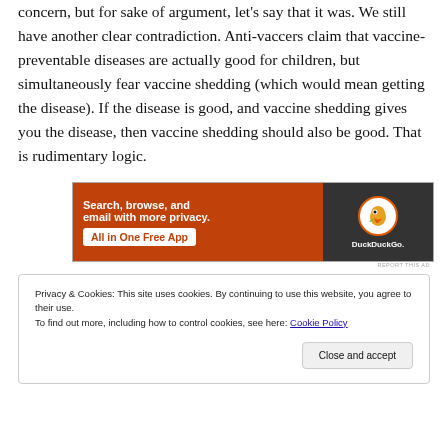concern, but for sake of argument, let's say that it was. We still have another clear contradiction. Anti-vaccers claim that vaccine-preventable diseases are actually good for children, but simultaneously fear vaccine shedding (which would mean getting the disease). If the disease is good, and vaccine shedding gives you the disease, then vaccine shedding should also be good. That is rudimentary logic.
[Figure (screenshot): DuckDuckGo advertisement banner: orange left panel with text 'Search, browse, and email with more privacy. All in One Free App' and dark right panel with DuckDuckGo logo and duck icon.]
REPORT THIS AD
Privacy & Cookies: This site uses cookies. By continuing to use this website, you agree to their use.
To find out more, including how to control cookies, see here: Cookie Policy
Close and accept